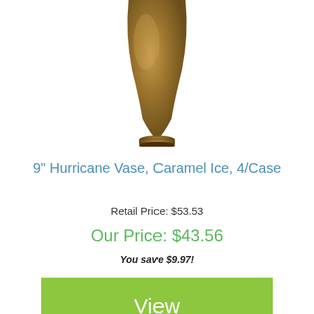[Figure (photo): Bottom portion of a caramel/bronze colored hurricane vase against white background]
9" Hurricane Vase, Caramel Ice, 4/Case
Retail Price: $53.53
Our Price: $43.56
You save $9.97!
View